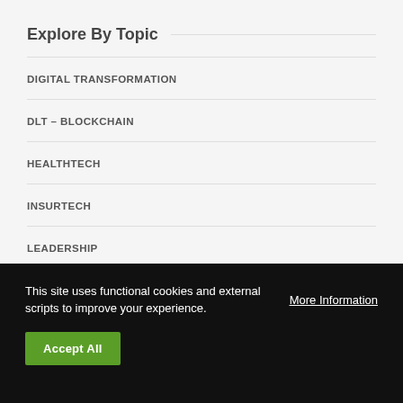Explore By Topic
DIGITAL TRANSFORMATION
DLT – BLOCKCHAIN
HEALTHTECH
INSURTECH
LEADERSHIP
This site uses functional cookies and external scripts to improve your experience.  More Information
Accept All